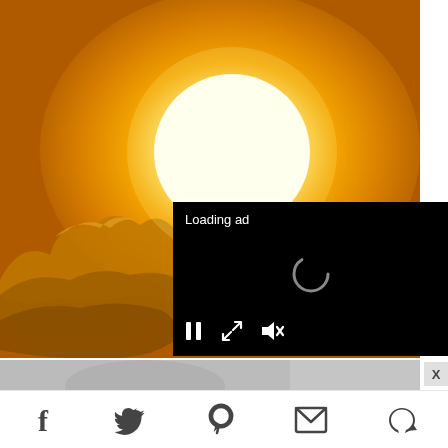[Figure (photo): Bright sun with glowing white center against orange/amber sky with cloud silhouette in lower left]
[Figure (screenshot): Video ad overlay on black background showing 'Loading ad' text, a spinner/loading circle in center, and media controls (pause, fullscreen, mute) at bottom]
[Figure (photo): Thumbnail strip showing partial image below the main photo]
X
[Figure (infographic): Social sharing bar with icons: Facebook, Twitter, Pinterest, Email, and another social icon]